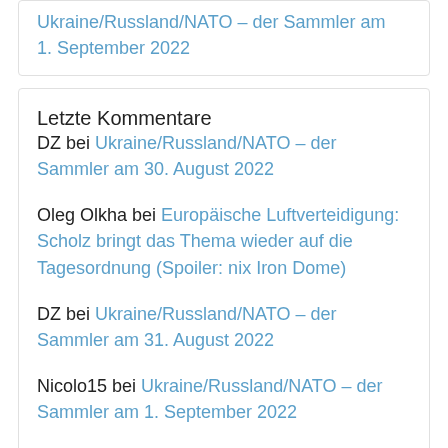Ukraine/Russland/NATO – der Sammler am 1. September 2022
Letzte Kommentare
DZ bei Ukraine/Russland/NATO – der Sammler am 30. August 2022
Oleg Olkha bei Europäische Luftverteidigung: Scholz bringt das Thema wieder auf die Tagesordnung (Spoiler: nix Iron Dome)
DZ bei Ukraine/Russland/NATO – der Sammler am 31. August 2022
Nicolo15 bei Ukraine/Russland/NATO – der Sammler am 1. September 2022
Gepard65 bei Ukraine/Russland/NATO – der